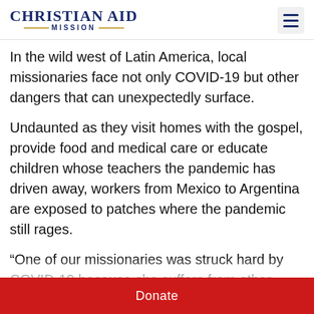Christian Aid Mission
In the wild west of Latin America, local missionaries face not only COVID-19 but other dangers that can unexpectedly surface.
Undaunted as they visit homes with the gospel, provide food and medical care or educate children whose teachers the pandemic has driven away, workers from Mexico to Argentina are exposed to patches where the pandemic still rages.
“One of our missionaries was struck hard by COVID-19 because she suffers from other health problems as
Donate